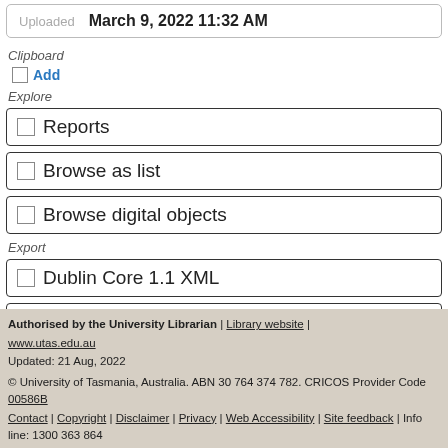| Uploaded | March 9, 2022 11:32 AM |
| --- | --- |
Clipboard
Add
Explore
Reports
Browse as list
Browse digital objects
Export
Dublin Core 1.1 XML
EAD 2002 XML
Authorised by the University Librarian | Library website | www.utas.edu.au
Updated: 21 Aug, 2022
© University of Tasmania, Australia. ABN 30 764 374 782. CRICOS Provider Code 00586B
Contact | Copyright | Disclaimer | Privacy | Web Accessibility | Site feedback | Info line: 1300 363 864